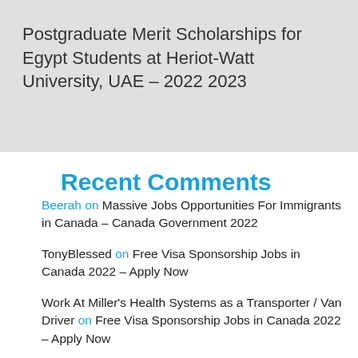Postgraduate Merit Scholarships for Egypt Students at Heriot-Watt University, UAE – 2022 2023
Recent Comments
Beerah on Massive Jobs Opportunities For Immigrants in Canada – Canada Government 2022
TonyBlessed on Free Visa Sponsorship Jobs in Canada 2022 – Apply Now
Work At Miller's Health Systems as a Transporter / Van Driver on Free Visa Sponsorship Jobs in Canada 2022 – Apply Now